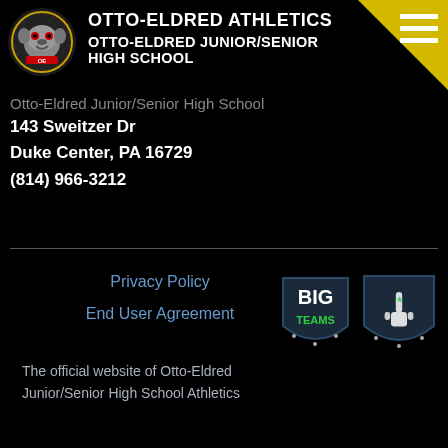OTTO-ELDRED ATHLETICS
OTTO-ELDRED JUNIOR/SENIOR HIGH SCHOOL
[Figure (logo): Bulldog mascot logo for Otto-Eldred athletics, dark background with yellow bulldog face]
Otto-Eldred Junior/Senior High School
143 Sweitzer Dr
Duke Center, PA 16729
(814) 966-3212
Privacy Policy
End User Agreement
[Figure (logo): BigTeams logo badge — dark shield shape with 'BIG TEAMS' text in white and green]
[Figure (logo): Number 1 hand gesture badge — dark shield with a raised index finger and star]
The official website of Otto-Eldred Junior/Senior High School Athletics